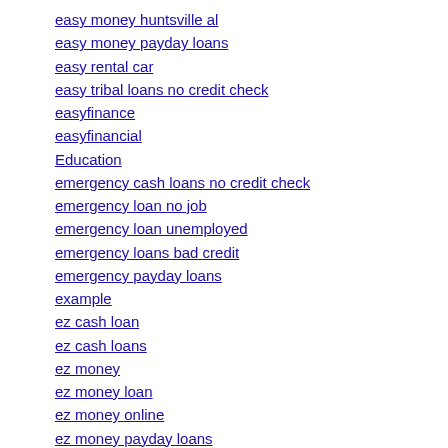easy money huntsville al
easy money payday loans
easy rental car
easy tribal loans no credit check
easyfinance
easyfinancial
Education
emergency cash loans no credit check
emergency loan no job
emergency loan unemployed
emergency loans bad credit
emergency payday loans
example
ez cash loan
ez cash loans
ez money
ez money loan
ez money online
ez money payday loans